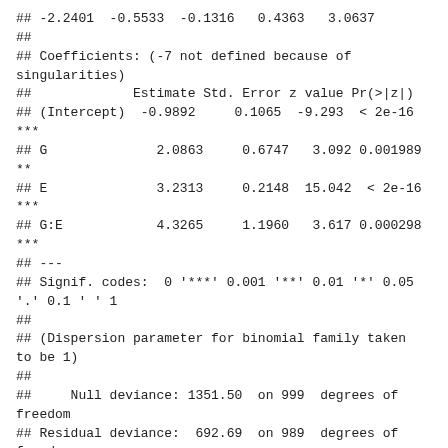## -2.2401  -0.5533  -0.1316   0.4363   3.0637
##
## Coefficients: (-7 not defined because of singularities)
##             Estimate Std. Error z value Pr(>|z|)
## (Intercept)  -0.9892     0.1065  -9.293  < 2e-16 ***
## G              2.0863     0.6747   3.092 0.001989 **
## E              3.2313     0.2148  15.042  < 2e-16 ***
## G:E            4.3265     1.1960   3.617 0.000298 ***
## ---
## Signif. codes:  0 '***' 0.001 '**' 0.01 '*' 0.05 '.' 0.1 ' ' 1
##
## (Dispersion parameter for binomial family taken to be 1)
##
##     Null deviance: 1351.50  on 999  degrees of freedom
## Residual deviance:  692.69  on 989  degrees of freedom